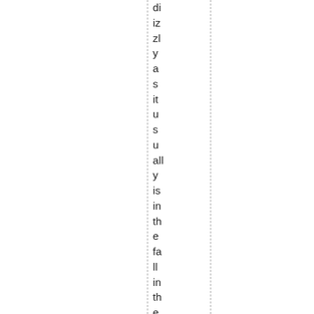dizzyingly is in the fall in the Pacific Northwest